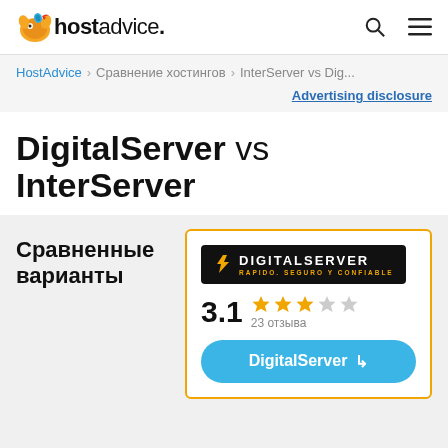hostadvice. (logo) [search icon] [menu icon]
HostAdvice > Сравнение хостингов > InterServer vs Dig...
Advertising disclosure
DigitalServer vs InterServer
Сравненные варианты
[Figure (logo): DigitalServer logo - dark background with lightning bolt icon and text DIGITALSERVER RAPIDO. SEGURO Y CONFIABLE]
3.1 ★★★☆☆ 23 отзыва
DigitalServer →